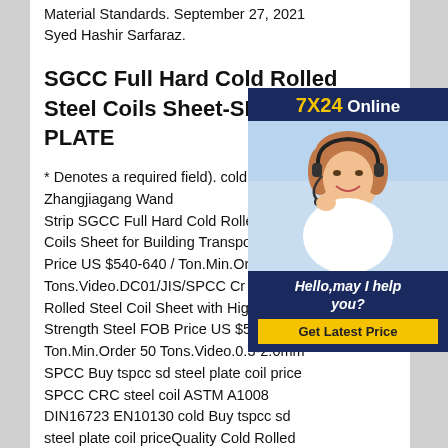Material Standards. September 27, 2021 Syed Hashir Sarfaraz.
SGCC Full Hard Cold Rolled Steel Coils Sheet-SD STEEL PLATE
* Denotes a required field). cold rolled steel sheet - Zhangjiagang Wand Strip SGCC Full Hard Cold Rolled Coils Sheet for Building Transport Price US $540-640 / Ton.Min.Order Tons.Video.DC01/JIS/SPCC Cr C Rolled Steel Coil Sheet with High Strength Steel FOB Price US $540-640 / Ton.Min.Order 50 Tons.Video.0.3-2.0mm SPCC Buy tspcc sd steel plate coil price SPCC CRC steel coil ASTM A1008 DIN16723 EN10130 cold Buy tspcc sd steel plate coil priceQuality Cold Rolled
[Figure (photo): Customer service representative advertisement banner with '7X24 Online' header, photo of woman with headset, tagline 'Hello,may I help you?' and 'Get Latest Price' button]